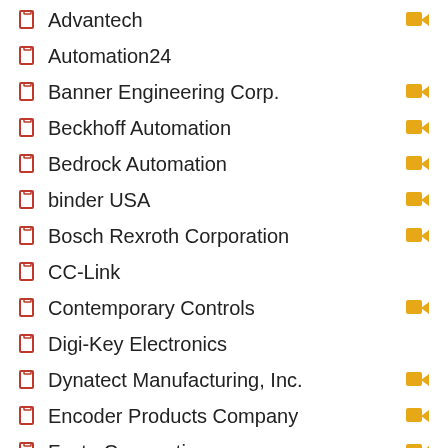Advantech
Automation24
Banner Engineering Corp.
Beckhoff Automation
Bedrock Automation
binder USA
Bosch Rexroth Corporation
CC-Link
Contemporary Controls
Digi-Key Electronics
Dynatect Manufacturing, Inc.
Encoder Products Company
Festo Corporation
GE Digital
HELUKABEL